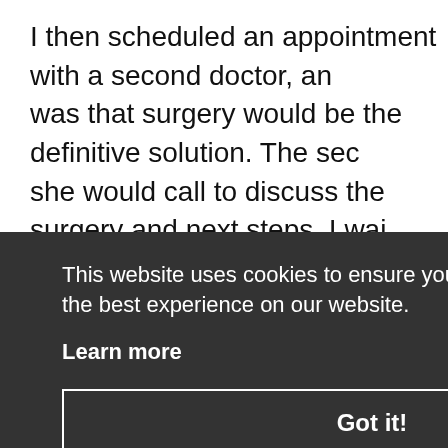I then scheduled an appointment with a second doctor, and was that surgery would be the definitive solution. The sec she would call to discuss the surgery and next steps. I wai finally sent a message through the online portal. I spoke w the surgery scheduler without receiving answers. Finally, b doctor's message through the online portal; it had journey circuitous routes, gotten lost in a mire of messages then e its way to me. The message instructed me to schedule the
re was hu nough to
This website uses cookies to ensure you get the best experience on our website.
Learn more
Got it!
was here my story tly perus d gotten
between doctors. She explained the criteria for this diagno